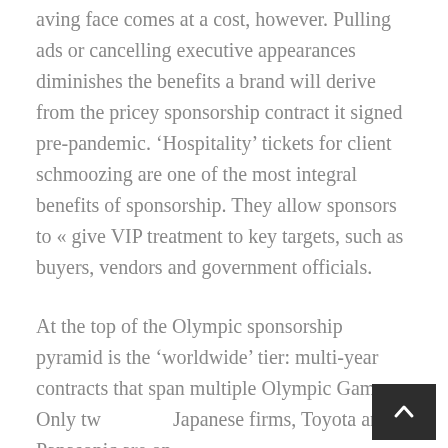aving face comes at a cost, however. Pulling ads or cancelling executive appearances diminishes the benefits a brand will derive from the pricey sponsorship contract it signed pre-pandemic. ‘Hospitality’ tickets for client schmoozing are one of the most integral benefits of sponsorship. They allow sponsors to « give VIP treatment to key targets, such as buyers, vendors and government officials.
At the top of the Olympic sponsorship pyramid is the ‘worldwide’ tier: multi-year contracts that span multiple Olympic Games. Only two Japanese firms, Toyota and Panasonic are on